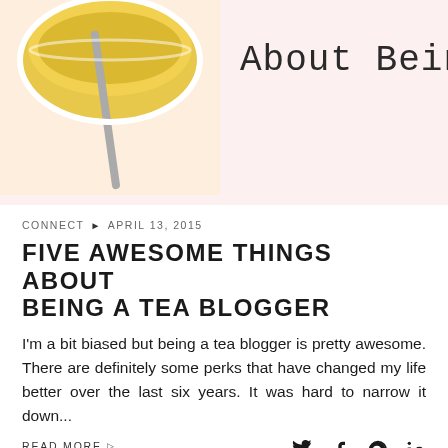[Figure (photo): Top portion of page: on the left, a photo of a tea cup with yellow/gold tea and a spoon, cropped. On the right, decorative handwritten-style text reading 'ABOUT BEING'.]
CONNECT ▶ APRIL 13, 2015
FIVE AWESOME THINGS ABOUT BEING A TEA BLOGGER
I'm a bit biased but being a tea blogger is pretty awesome. There are definitely some perks that have changed my life better over the last six years. It was hard to narrow it down...
READ MORE ▷
social icons: twitter, facebook, pinterest, linkedin